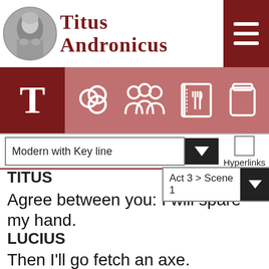Titus Andronicus
[Figure (screenshot): Navigation bar with T icon and four navigation icons on a rose/mauve background]
[Figure (screenshot): Toolbar with 'Modern with Key line' dropdown and Hyperlinks checkbox]
[Figure (screenshot): Scene navigation dropdown showing 'Act 3 > Scene 1']
TITUS
Agree between you: I will spare my hand.
LUCIUS
Then I'll go fetch an axe.
MARCUS